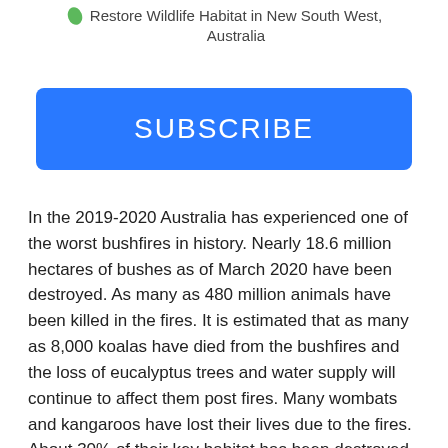Restore Wildlife Habitat in New South West, Australia
SUBSCRIBE
In the 2019-2020 Australia has experienced one of the worst bushfires in history. Nearly 18.6 million hectares of bushes as of March 2020 have been destroyed. As many as 480 million animals have been killed in the fires. It is estimated that as many as 8,000 koalas have died from the bushfires and the loss of eucalyptus trees and water supply will continue to affect them post fires. Many wombats and kangaroos have lost their lives due to the fires. About 30% of their key habitat has been destroyed.